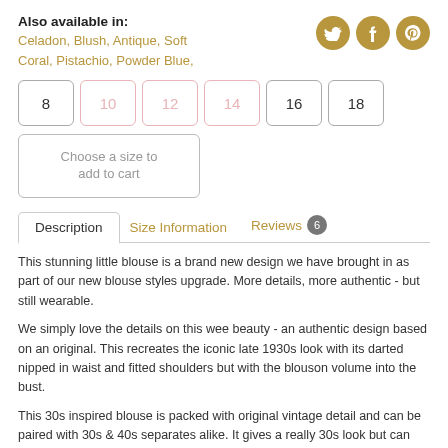Also available in:
Celadon, Blush, Antique, Soft Coral, Pistachio, Powder Blue,
[Figure (illustration): Three circular social media icons (Twitter, Facebook, Pinterest) in gold/tan color]
8  10  12  14  16  18 (size selection buttons, 10 and 12 and 14 shown in light/unavailable style)
Choose a size to add to cart
Description | Size Information | Reviews 6
This stunning little blouse is a brand new design we have brought in as part of our new blouse styles upgrade. More details, more authentic - but still wearable.
We simply love the details on this wee beauty - an authentic design based on an original. This recreates the iconic late 1930s look with its darted nipped in waist and fitted shoulders but with the blouson volume into the bust.
This 30s inspired blouse is packed with original vintage detail and can be paired with 30s & 40s separates alike. It gives a really 30s look but can also be blended into the all-over vintage look and